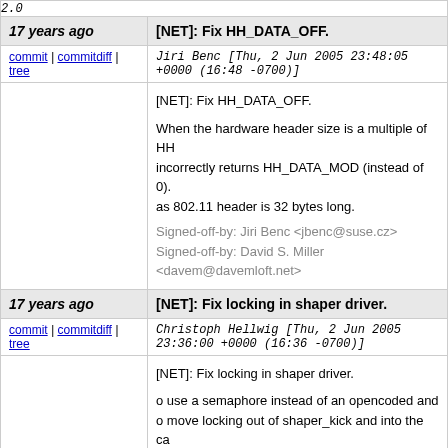2.0
17 years ago   [NET]: Fix HH_DATA_OFF.
commit | commitdiff | tree   Jiri Benc [Thu, 2 Jun 2005 23:48:05 +0000 (16:48 -0700)]
[NET]: Fix HH_DATA_OFF.

When the hardware header size is a multiple of HH... incorrectly returns HH_DATA_MOD (instead of 0). as 802.11 header is 32 bytes long.

Signed-off-by: Jiri Benc <jbenc@suse.cz>
Signed-off-by: David S. Miller <davem@davemloft.net>
17 years ago   [NET]: Fix locking in shaper driver.
commit | commitdiff | tree   Christoph Hellwig [Thu, 2 Jun 2005 23:36:00 +0000 (16:36 -0700)]
[NET]: Fix locking in shaper driver.

o use a semaphore instead of an opencoded and
o move locking out of shaper_kick and into the ca released the lock before calling shaper_kick
o remove in_interrupt() tests.  from -
>close we can always block, from
   ->hard_start_xmit and timer context never